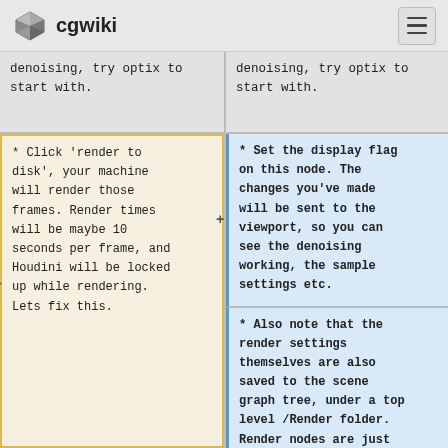cgwiki
denoising, try optix to start with.
denoising, try optix to start with.
* Click 'render to disk', your machine will render those frames. Render times will be maybe 10 seconds per frame, and Houdini will be locked up while rendering. Lets fix this.
* Set the display flag on this node. The changes you've made will be sent to the viewport, so you can see the denoising working, the sample settings etc.
* Also note that the render settings themselves are also saved to the scene graph tree, under a top level /Render folder. Render nodes are just treated like all the